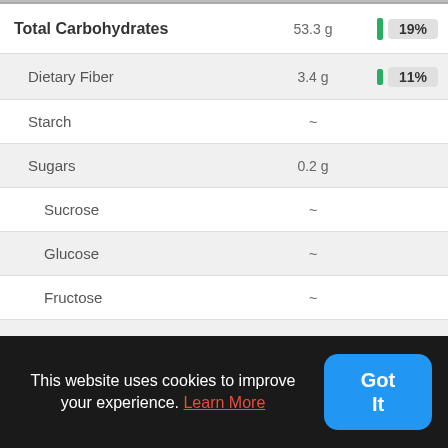| Nutrient | Amount | % DV |
| --- | --- | --- |
| Total Carbohydrates | 53.3 g | 19% |
| Dietary Fiber | 3.4 g | 11% |
| Starch | ~ |  |
| Sugars | 0.2 g |  |
| Sucrose | ~ |  |
| Glucose | ~ |  |
| Fructose | ~ |  |
| Lactose | ~ |  |
| Maltose | ~ |  |
This website uses cookies to improve your experience. Learn More
Got It